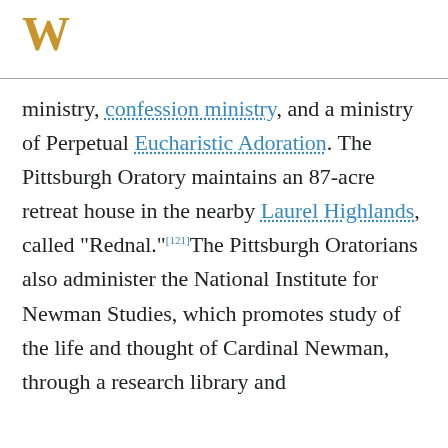W
ministry, confession ministry, and a ministry of Perpetual Eucharistic Adoration. The Pittsburgh Oratory maintains an 87-acre retreat house in the nearby Laurel Highlands, called "Rednal."[121]The Pittsburgh Oratorians also administer the National Institute for Newman Studies, which promotes study of the life and thought of Cardinal Newman, through a research library and [continues]